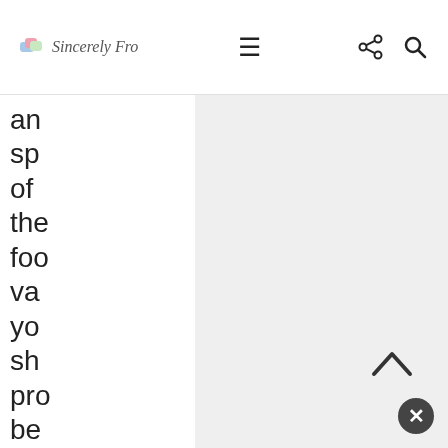Sincerely Fro [logo] [hamburger menu] [share icon] [search icon]
an
sp
of
the
foo
va
yo
sh
pro
be
wa
tha
it's
hic
pro
I'll